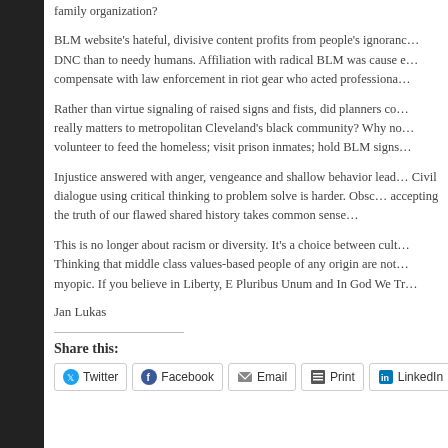family organization?
BLM website's hateful, divisive content profits from people's ignorance. More money goes to DNC than to needy humans. Affiliation with radical BLM was cause enough to compensate with law enforcement in riot gear who acted professionally.
Rather than virtue signaling of raised signs and fists, did planners consider what really matters to metropolitan Cleveland's black community? Why not organize and volunteer to feed the homeless; visit prison inmates; hold BLM signs…
Injustice answered with anger, vengeance and shallow behavior leads nowhere. Civil dialogue using critical thinking to problem solve is harder. Obscuring and accepting the truth of our flawed shared history takes common sense…
This is no longer about racism or diversity. It's a choice between culture… Thinking that middle class values-based people of any origin are not… myopic. If you believe in Liberty, E Pluribus Unum and In God We Tr…
Jan Lukas
Share this:
Twitter Facebook Email Print LinkedIn